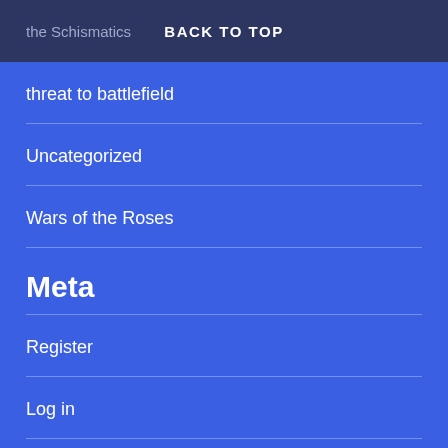the Schismatics  BACK TO TOP
threat to battlefield
Uncategorized
Wars of the Roses
Meta
Register
Log in
Entries feed
Comments feed